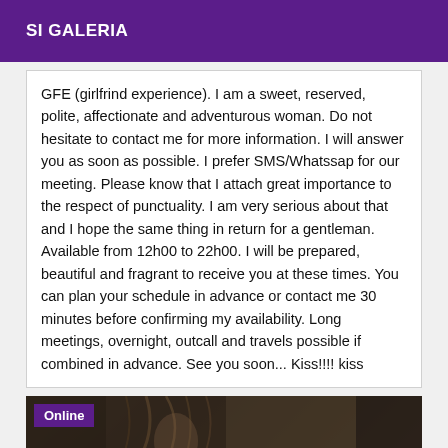SI GALERIA
GFE (girlfrind experience). I am a sweet, reserved, polite, affectionate and adventurous woman. Do not hesitate to contact me for more information. I will answer you as soon as possible. I prefer SMS/Whatssap for our meeting. Please know that I attach great importance to the respect of punctuality. I am very serious about that and I hope the same thing in return for a gentleman. Available from 12h00 to 22h00. I will be prepared, beautiful and fragrant to receive you at these times. You can plan your schedule in advance or contact me 30 minutes before confirming my availability. Long meetings, overnight, outcall and travels possible if combined in advance. See you soon... Kiss!!!! kiss
[Figure (photo): Dark photo showing a person with long hair, partially visible in dim lighting. An 'Online' badge appears in the top-left corner over the purple background.]